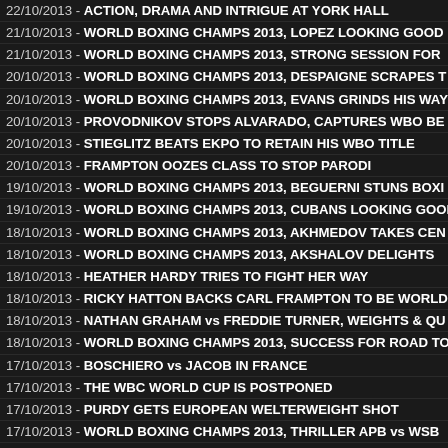22/10/2013 - ACTION, DRAMA AND INTRIGUE AT YORK HALL
21/10/2013 - WORLD BOXING CHAMPS 2013, LOPEZ LOOKING GOOD
21/10/2013 - WORLD BOXING CHAMPS 2013, STRONG SESSION FOR
20/10/2013 - WORLD BOXING CHAMPS 2013, DESPAIGNE SCRAPES T
20/10/2013 - WORLD BOXING CHAMPS 2013, EVANS GRINDS HIS WAY
20/10/2013 - PROVODNIKOV STOPS ALVARADO, CAPTURES WBO BE
20/10/2013 - STIEGLITZ BEATS EKPO TO RETAIN HIS WBO TITLE
20/10/2013 - FRAMPTON OOZES CLASS TO STOP PARODI
19/10/2013 - WORLD BOXING CHAMPS 2013, BEGUERNI STUNS BOXI
19/10/2013 - WORLD BOXING CHAMPS 2013, CUBANS LOOKING GOOD
18/10/2013 - WORLD BOXING CHAMPS 2013, AKHMEDOV TAKES CEN
18/10/2013 - WORLD BOXING CHAMPS 2013, AKSHALOV DELIGHTS
18/10/2013 - HEATHER HARDY TRIES TO FIGHT HER WAY
18/10/2013 - RICKY HATTON BACKS CARL FRAMPTON TO BE WORLD
18/10/2013 - NATHAN GRAHAM vs FREDDIE TURNER, WEIGHTS & QU
18/10/2013 - WORLD BOXING CHAMPS 2013, SUCCESS FOR ROAD TO
17/10/2013 - BOSCHIERO vs JACOB IN FRANCE
17/10/2013 - THE WBC WORLD CUP IS POSTPONED
17/10/2013 - PURDY GETS EUROPEAN WELTERWEIGHT SHOT
17/10/2013 - WORLD BOXING CHAMPS 2013, THRILLER APB vs WSB
17/10/2013 - WORLD BOXING CHAMPS 2013, ANOTHER DAY IN ALMA
17/10/2013 - WORLD BOXING CHAMPS 2013, KVACHATDZE VERY IMP
16/10/2013 - PERSSON'S EURO NEWS AND RESULTS
16/10/2013 - ONE CHAMPION FOR EVERY WEIGHT DIVISION
16/10/2013 - PRICE HIRES HAYE'S MENTOR TO REBUILD HIS CAREER
16/10/2013 - PAUL AND ANTHONY UPTON IN ACTION ON FRIDAY
15/10/2013 - WORLD BOXING CHAMPIONSHIPS 2013, LAZAREV'S